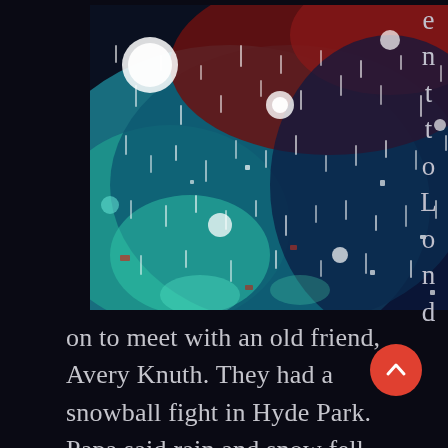[Figure (photo): A photograph showing rain and snow falling, with teal/blue bokeh lights and red/dark background, viewed through a wet window or glass surface. The image has a colorful, artistic quality with streaks of white representing falling precipitation.]
e n t t o L o n d on to meet with an old friend, Avery Knuth. They had a snowball fight in Hyde Park. Papa said rain and snow fell together on that day, so that he had shivered and winced. I have never seen snow falling or heard it pierce a